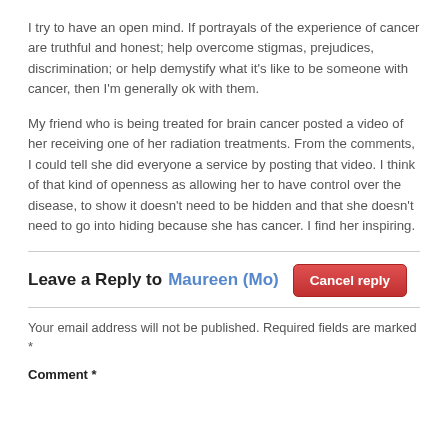I try to have an open mind. If portrayals of the experience of cancer are truthful and honest; help overcome stigmas, prejudices, discrimination; or help demystify what it's like to be someone with cancer, then I'm generally ok with them.
My friend who is being treated for brain cancer posted a video of her receiving one of her radiation treatments. From the comments, I could tell she did everyone a service by posting that video. I think of that kind of openness as allowing her to have control over the disease, to show it doesn't need to be hidden and that she doesn't need to go into hiding because she has cancer. I find her inspiring.
Leave a Reply to Maureen (Mo)
Your email address will not be published. Required fields are marked *
Comment *